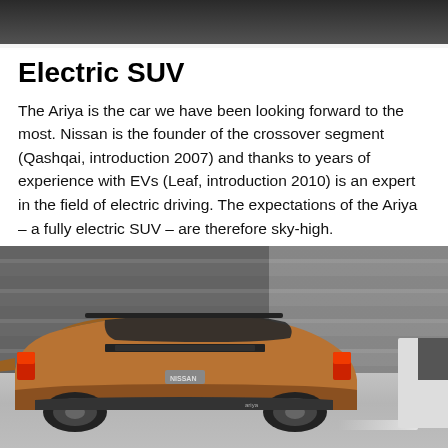[Figure (photo): Top portion of a photo showing a dark/grey background, partial car image cropped at top]
Electric SUV
The Ariya is the car we have been looking forward to the most. Nissan is the founder of the crossover segment (Qashqai, introduction 2007) and thanks to years of experience with EVs (Leaf, introduction 2010) is an expert in the field of electric driving. The expectations of the Ariya – a fully electric SUV – are therefore sky-high.
[Figure (photo): Photo of a Nissan Ariya electric SUV in bronze/copper color, rear three-quarter view, driving past a garage or industrial building with grey sliding doors. The Nissan badge is visible on the rear.]